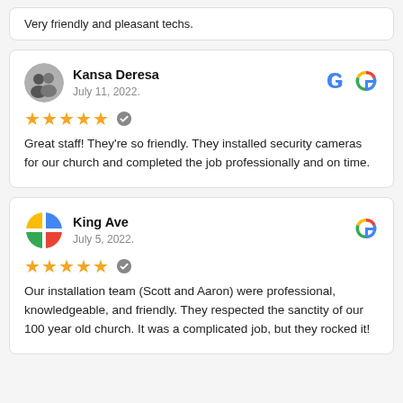Very friendly and pleasant techs.
Kansa Deresa
July 11, 2022.
Great staff! They're so friendly. They installed security cameras for our church and completed the job professionally and on time.
King Ave
July 5, 2022.
Our installation team (Scott and Aaron) were professional, knowledgeable, and friendly. They respected the sanctity of our 100 year old church. It was a complicated job, but they rocked it!